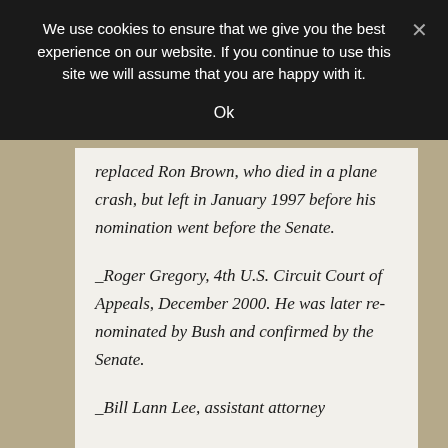We use cookies to ensure that we give you the best experience on our website. If you continue to use this site we will assume that you are happy with it.
Ok
replaced Ron Brown, who died in a plane crash, but left in January 1997 before his nomination went before the Senate.
_Roger Gregory, 4th U.S. Circuit Court of Appeals, December 2000. He was later re-nominated by Bush and confirmed by the Senate.
_Bill Lann Lee, assistant attorney